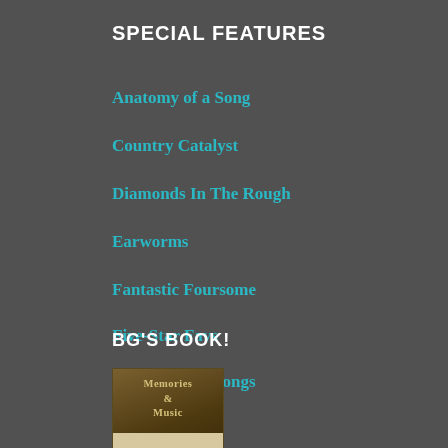SPECIAL FEATURES
Anatomy of a Song
Country Catalyst
Diamonds In The Rough
Earworms
Fantastic Foursome
Five-Star Favs
Saluting Silly Songs
Squeaky Wheel
BG'S BOOK!
[Figure (illustration): Book cover for 'Memories & Music' showing a decorative golden/brown cover with stylized title text and a portrait image at the bottom]